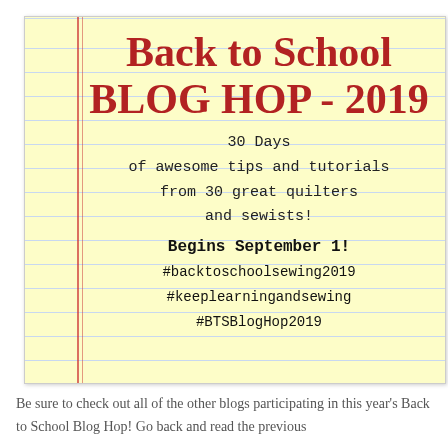[Figure (infographic): Yellow lined notebook paper graphic with red margin lines, containing Back to School Blog Hop 2019 announcement text]
Back to School BLOG HOP - 2019
30 Days of awesome tips and tutorials from 30 great quilters and sewists!
Begins September 1! #backtoschoolsewing2019 #keeplearningandsewing #BTSBlogHop2019
Be sure to check out all of the other blogs participating in this year's Back to School Blog Hop! Go back and read the previous